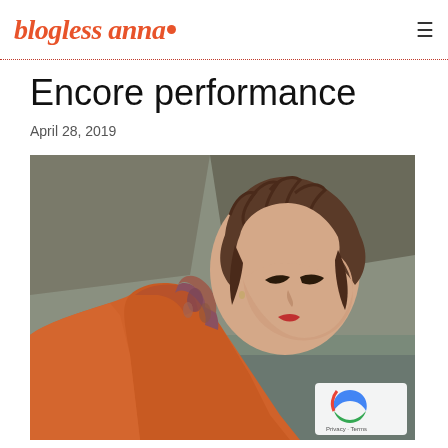blogless anna.
Encore performance
April 28, 2019
[Figure (photo): Woman with curly brown hair wearing an orange jacket and colorful floral scarf, looking downward, with rocky landscape in background]